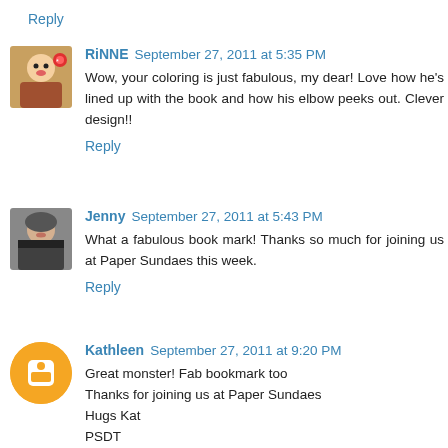Reply
RiNNE  September 27, 2011 at 5:35 PM
Wow, your coloring is just fabulous, my dear! Love how he's lined up with the book and how his elbow peeks out. Clever design!!
Reply
Jenny  September 27, 2011 at 5:43 PM
What a fabulous book mark! Thanks so much for joining us at Paper Sundaes this week.
Reply
Kathleen  September 27, 2011 at 9:20 PM
Great monster! Fab bookmark too
Thanks for joining us at Paper Sundaes
Hugs Kat
PSDT